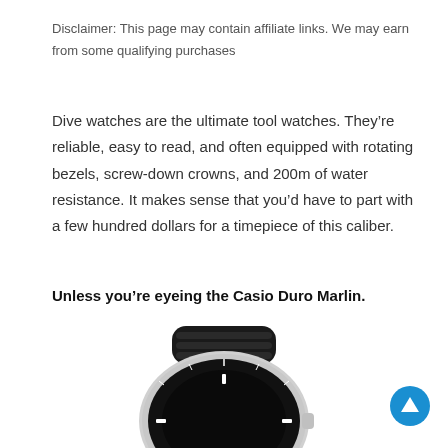Disclaimer: This page may contain affiliate links. We may earn from some qualifying purchases
Dive watches are the ultimate tool watches. They’re reliable, easy to read, and often equipped with rotating bezels, screw-down crowns, and 200m of water resistance. It makes sense that you’d have to part with a few hundred dollars for a timepiece of this caliber.
Unless you’re eyeing the Casio Duro Marlin.
[Figure (photo): Photo of a Casio Duro Marlin dive watch with black rubber strap and black bezel, viewed from an angle showing the top of the watch case and strap lugs]